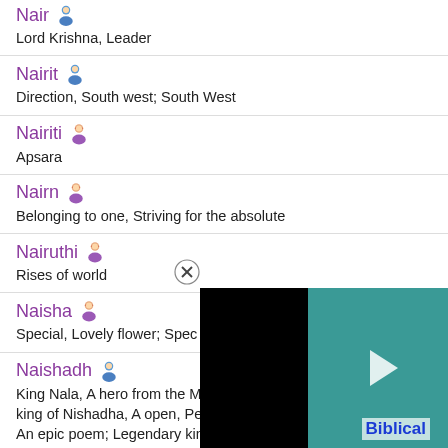Nair — Lord Krishna, Leader
Nairit — Direction, South west; South West
Nairiti — Apsara
Nairn — Belonging to one, Striving for the absolute
Nairuthi — Rises of world
Naisha — Special, Lovely flower; Spec[ial]
Naishadh — King Nala, A hero from the M[ahabharata], king of Nishadha, A open, Pertaining to Nishadha, An epic poem; Legendary king of Nishadha
[Figure (screenshot): Video ad overlay with close button (X), black and teal background, play button icon, and 'Biblical' text label visible at bottom right]